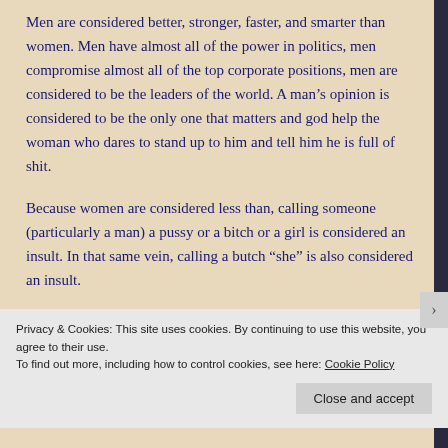Men are considered better, stronger, faster, and smarter than women. Men have almost all of the power in politics, men compromise almost all of the top corporate positions, men are considered to be the leaders of the world. A man’s opinion is considered to be the only one that matters and god help the woman who dares to stand up to him and tell him he is full of shit.
Because women are considered less than, calling someone (particularly a man) a pussy or a bitch or a girl is considered an insult. In that same vein, calling a butch “she” is also considered an insult.
Privacy & Cookies: This site uses cookies. By continuing to use this website, you agree to their use.
To find out more, including how to control cookies, see here: Cookie Policy